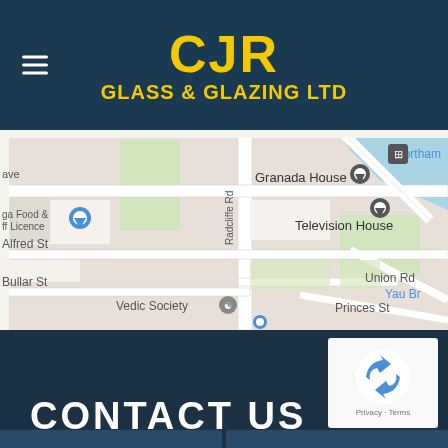CJR GLASS & GLAZING LTD
[Figure (map): Google Maps screenshot showing streets near Radcliffe Rd in Northampton, including Granada House, Television House, Vedic Society, Alfred St, Bullar St, Union Rd, Princes St, Yau Br]
CONTACT US
[Figure (other): reCAPTCHA widget with Privacy and Terms links]